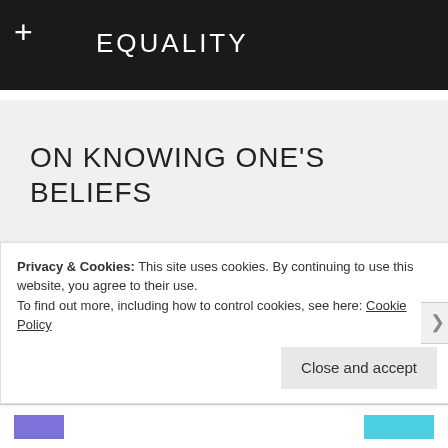EQUALITY
ON KNOWING ONE'S BELIEFS
A genuine badass individual, in order to promote inner tranquility and freedom for all, may (or may not) choose to follow or practice a religion, philosophy, or a particular belief
Privacy & Cookies: This site uses cookies. By continuing to use this website, you agree to their use.
To find out more, including how to control cookies, see here: Cookie Policy